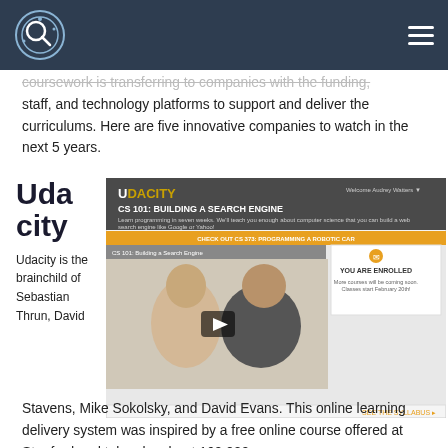coursework is transferring to companies with the funding, staff, and technology platforms to support and deliver the curriculums. Here are five innovative companies to watch in the next 5 years.
Udacity
[Figure (screenshot): Udacity website screenshot showing CS 101: Building a Search Engine course page with two instructors video thumbnail and 'You Are Enrolled' panel]
Udacity is the brainchild of Sebastian Thrun, David Stavens, Mike Sokolsky, and David Evans. This online learning delivery system was inspired by a free online course offered at Stanford and taken by about 160,000